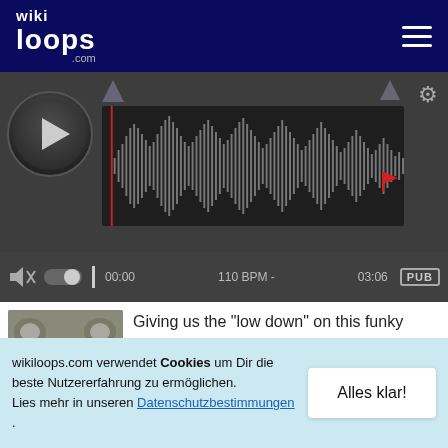[Figure (screenshot): wikiloops.com website header with logo and hamburger menu on dark navy background]
[Figure (screenshot): Audio player with waveform visualization, play button, time markers 00:00 and 03:06, 110 BPM label, PUB badge, volume and settings controls]
[Figure (photo): Koala bear facing camera with open mouth]
Giving us the "low down" on this funky track.
+1
vor 1 Jahr
wikiloops.com verwendet Cookies um Dir die beste Nutzererfahrung zu ermöglichen. Lies mehr in unseren Datenschutzbestimmungen .